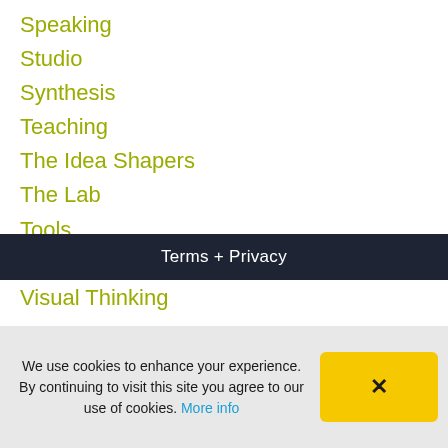Speaking
Studio
Synthesis
Teaching
The Idea Shapers
The Lab
Tools
Travel
Visual Thinking
Terms + Privacy
We use cookies to enhance your experience. By continuing to visit this site you agree to our use of cookies. More info